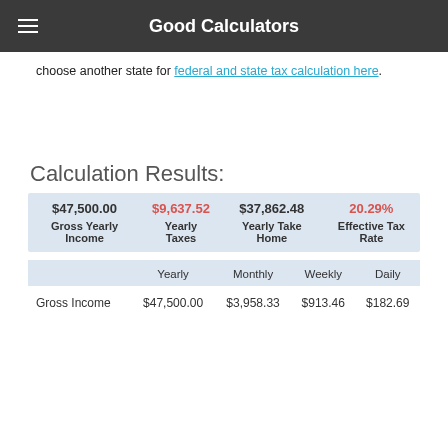Good Calculators
choose another state for federal and state tax calculation here.
Calculation Results:
| Gross Yearly Income | Yearly Taxes | Yearly Take Home | Effective Tax Rate |
| --- | --- | --- | --- |
| $47,500.00 | $9,637.52 | $37,862.48 | 20.29% |
|  | Yearly | Monthly | Weekly | Daily |
| --- | --- | --- | --- | --- |
| Gross Income | $47,500.00 | $3,958.33 | $913.46 | $182.69 |